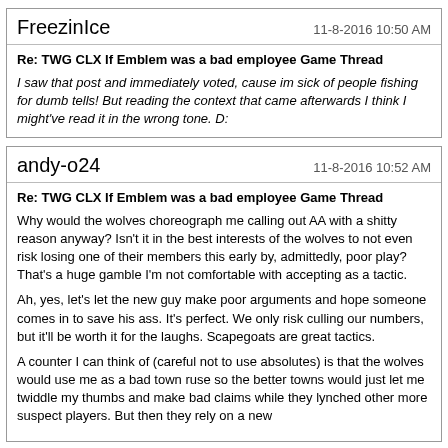FreezinIce
11-8-2016 10:50 AM
Re: TWG CLX If Emblem was a bad employee Game Thread
I saw that post and immediately voted, cause im sick of people fishing for dumb tells! But reading the context that came afterwards I think I might've read it in the wrong tone. D:
andy-o24
11-8-2016 10:52 AM
Re: TWG CLX If Emblem was a bad employee Game Thread
Why would the wolves choreograph me calling out AA with a shitty reason anyway? Isn't it in the best interests of the wolves to not even risk losing one of their members this early by, admittedly, poor play? That's a huge gamble I'm not comfortable with accepting as a tactic.
Ah, yes, let's let the new guy make poor arguments and hope someone comes in to save his ass. It's perfect. We only risk culling our numbers, but it'll be worth it for the laughs. Scapegoats are great tactics.
A counter I can think of (careful not to use absolutes) is that the wolves would use me as a bad town ruse so the better towns would just let me twiddle my thumbs and make bad claims while they lynched other more suspect players. But then they rely on a new